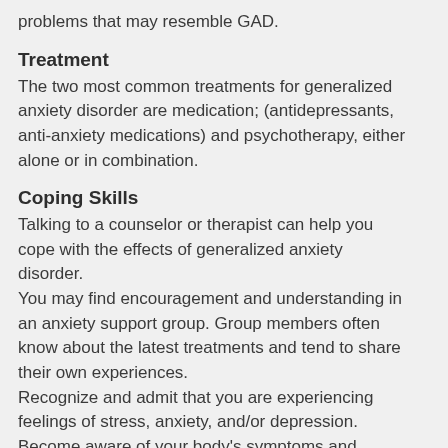problems that may resemble GAD.
Treatment
The two most common treatments for generalized anxiety disorder are medication; (antidepressants, anti-anxiety medications) and psychotherapy, either alone or in combination.
Coping Skills
Talking to a counselor or therapist can help you cope with the effects of generalized anxiety disorder.
You may find encouragement and understanding in an anxiety support group. Group members often know about the latest treatments and tend to share their own experiences.
Recognize and admit that you are experiencing feelings of stress, anxiety, and/or depression.
Become aware of your body's symptoms and